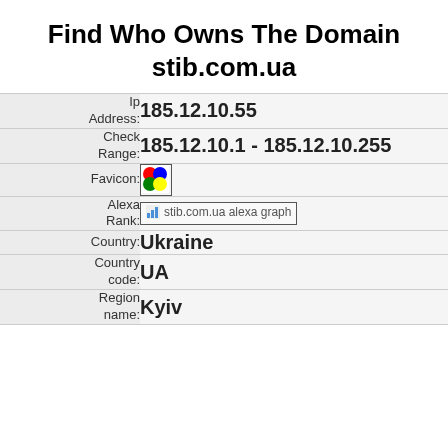Find Who Owns The Domain stib.com.ua
| Ip Address: | 185.12.10.55 |
| Check Range: | 185.12.10.1 - 185.12.10.255 |
| Favicon: | [favicon image] |
| Alexa Rank: | stib.com.ua alexa graph |
| Country: | Ukraine |
| Country code: | UA |
| Region name: | Kyiv |